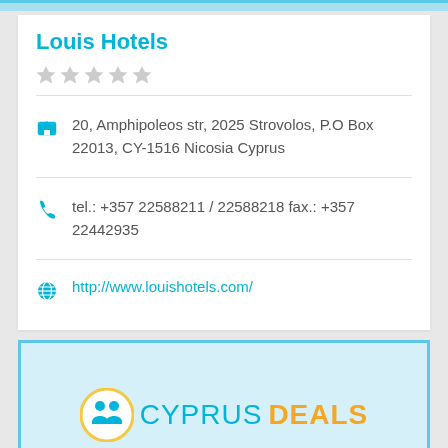Louis Hotels
★★★★★
20, Amphipoleos str, 2025 Strovolos, P.O Box 22013, CY-1516 Nicosia Cyprus
tel.: +357 22588211 / 22588218 fax.: +357 22442935
http://www.louishotels.com/
[Figure (logo): Cyprus Deals logo with circular icon showing two people figures in yellow border, text CYPRUS DEALS, and subtitle COMPANY LOGO MISSING]